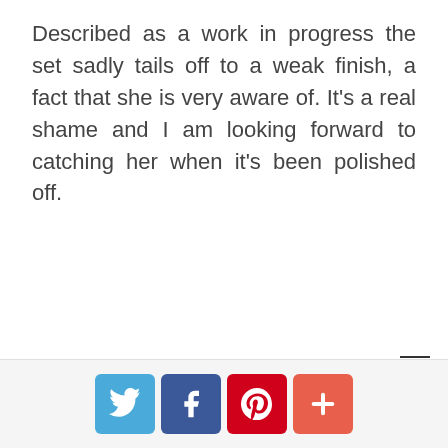Described as a work in progress the set sadly tails off to a weak finish, a fact that she is very aware of. It's a real shame and I am looking forward to catching her when it's been polished off.
[Social share buttons: Twitter, Facebook, Pinterest, Plus]